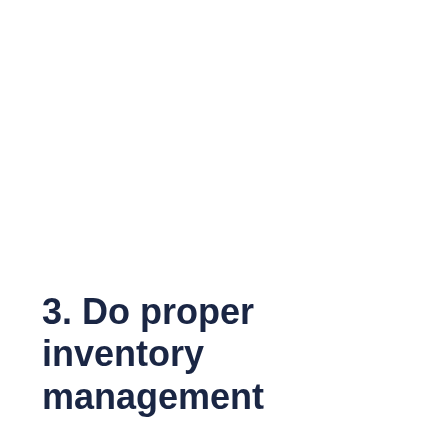3. Do proper inventory management